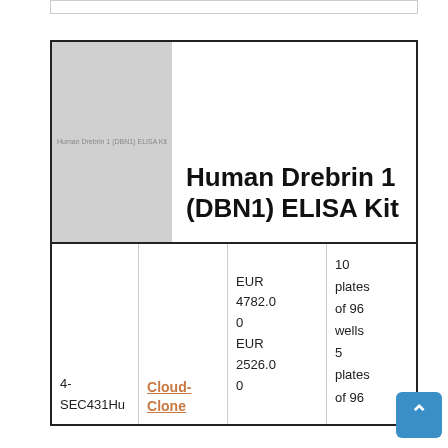[Figure (photo): Gray placeholder image with text 'Human Drebrin 1 (DBN1) ELISA Kit']
Human Drebrin 1 (DBN1) ELISA Kit
| ID | Supplier | Price | Quantity |
| --- | --- | --- | --- |
| 4-SEC431Hu | Cloud-Clone | EUR 4782.00
EUR 2526.00 | 10 plates of 96 wells
5 plates of 96 |